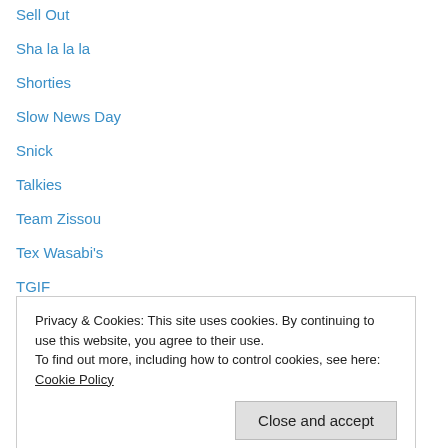Sell Out
Sha la la la
Shorties
Slow News Day
Snick
Talkies
Team Zissou
Tex Wasabi's
TGIF
The Bieb
The Big Screen
The Roaring 10s!
The Sixth Taste
Privacy & Cookies: This site uses cookies. By continuing to use this website, you agree to their use. To find out more, including how to control cookies, see here: Cookie Policy
Tyranasaurus Sex